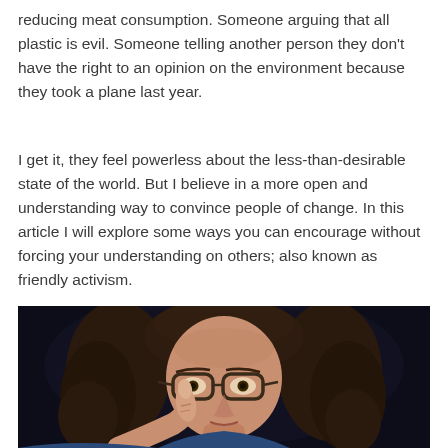reducing meat consumption. Someone arguing that all plastic is evil. Someone telling another person they don't have the right to an opinion on the environment because they took a plane last year.
I get it, they feel powerless about the less-than-desirable state of the world. But I believe in a more open and understanding way to convince people of change. In this article I will explore some ways you can encourage without forcing your understanding on others; also known as friendly activism.
[Figure (photo): A person with curly dark hair and glasses pointing their index finger toward the camera, set against a dark background, wearing a blue top.]